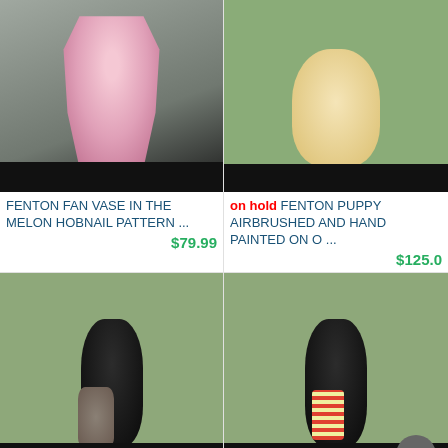[Figure (photo): Pink Fenton Fan Vase in the Melon Hobnail pattern on a grey/gravel background]
FENTON FAN VASE IN THE MELON HOBNAIL PATTERN ...
$79.99
[Figure (photo): Fenton puppy figurine, airbrushed and hand painted, cream/yellow colored dog sitting]
on hold FENTON PUPPY AIRBRUSHED AND HAND PAINTED ON O ...
$125.0
[Figure (photo): Fenton penguin figurine with scarf, hand painted, black penguin on green background]
[Figure (photo): Fenton penguin figurine with striped vest, hand painted, black penguin on green background]
FENTON PENGUIN HAND
FENTON PENGUIN HAND